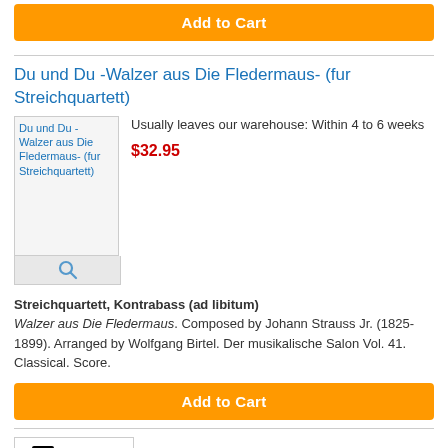Add to Cart
Du und Du -Walzer aus Die Fledermaus- (fur Streichquartett)
[Figure (photo): Product image placeholder for Du und Du - Walzer aus Die Fledermaus- (fur Streichquartett) with a search/zoom icon below]
Usually leaves our warehouse: Within 4 to 6 weeks
$32.95
Streichquartett, Kontrabass (ad libitum) Walzer aus Die Fledermaus. Composed by Johann Strauss Jr. (1825-1899). Arranged by Wolfgang Birtel. Der musikalische Salon Vol. 41. Classical. Score.
Add to Cart
[Figure (logo): Norton Shopping Guarantee badge with checkmark, norton logo, and 'verifying...' text]